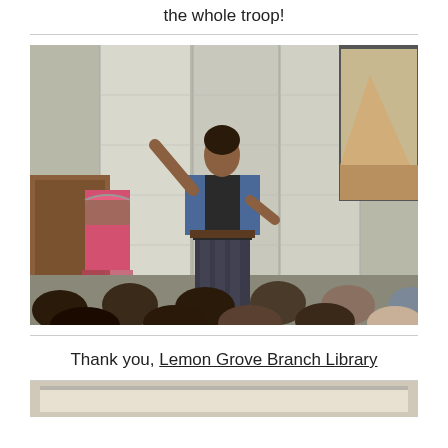the whole troop!
[Figure (photo): A woman in a blue jacket and patterned pants stands in front of a whiteboard/projection screen, gesturing with her right arm raised. A pink dress on a hanger hangs on a wooden podium to her left. An audience of children/young people is visible from behind in the foreground. A projected image is partially visible in the upper right corner.]
Thank you, Lemon Grove Branch Library
[Figure (photo): Partial view of another photo at the bottom of the page, appears to show a light-colored indoor setting.]